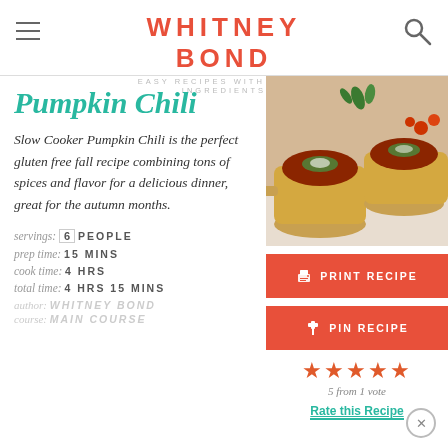WHITNEY BOND
EASY RECIPES WITH FRESH INGREDIENTS
Pumpkin Chili
[Figure (photo): Yellow ceramic bowls filled with pumpkin chili topped with avocado and herbs, on a light surface with cherry tomatoes]
Slow Cooker Pumpkin Chili is the perfect gluten free fall recipe combining tons of spices and flavor for a delicious dinner, great for the autumn months.
PRINT RECIPE
PIN RECIPE
servings: 6 PEOPLE
prep time: 15 MINS
cook time: 4 HRS
total time: 4 HRS 15 MINS
5 from 1 vote
Rate this Recipe
author: WHITNEY BOND
course: MAIN COURSE